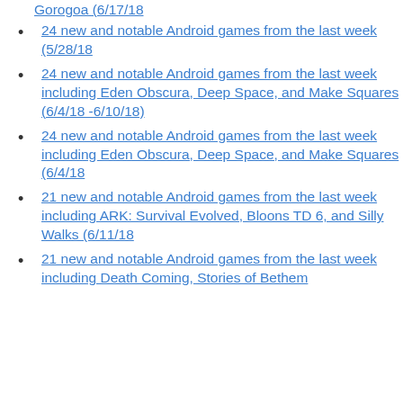Gorogoa (6/17/18
24 new and notable Android games from the last week (5/28/18
24 new and notable Android games from the last week including Eden Obscura, Deep Space, and Make Squares (6/4/18 -6/10/18)
24 new and notable Android games from the last week including Eden Obscura, Deep Space, and Make Squares (6/4/18
21 new and notable Android games from the last week including ARK: Survival Evolved, Bloons TD 6, and Silly Walks (6/11/18
21 new and notable Android games from the last week including Death Coming, Stories of Bethem